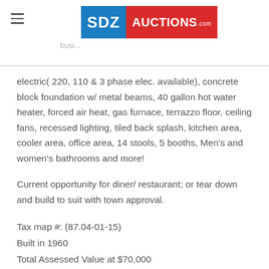SDZ AUCTIONS .com
electric( 220, 110 & 3 phase elec. available), concrete block foundation w/ metal beams, 40 gallon hot water heater, forced air heat, gas furnace, terrazzo floor, ceiling fans, recessed lighting, tiled back splash, kitchen area, cooler area, office area, 14 stools, 5 booths, Men's and women's bathrooms and more!
Current opportunity for diner/ restaurant; or tear down and build to suit with town approval.
Tax map #: (87.04-01-15)
Built in 1960
Total Assessed Value at $70,000